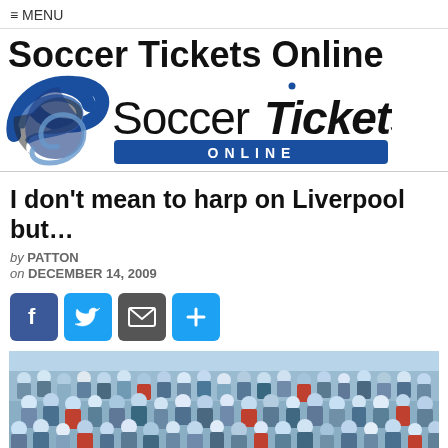≡ MENU
Soccer Tickets Online
[Figure (logo): Soccer Tickets Online logo with blue swoosh icon and SoccerTickets ONLINE text]
I don't mean to harp on Liverpool but…
by PATTON
on DECEMBER 14, 2009
[Figure (infographic): Social share buttons: Facebook, Twitter, Email, and plus/more]
[Figure (photo): Crowd of soccer fans in stadium stands, mostly wearing light blue clothing]